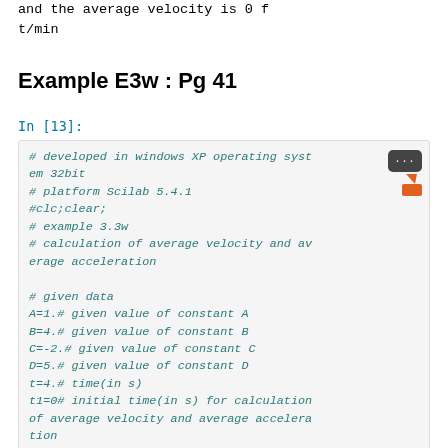and the average velocity is 0 ft/min
Example E3w : Pg 41
In [13]:
# developed in windows XP operating system 32bit
# platform Scilab 5.4.1
#clc;clear;
# example 3.3w
# calculation of average velocity and average acceleration

# given data
A=1.# given value of constant A
B=4.# given value of constant B
C=-2.# given value of constant C
D=5.# given value of constant D
t=4.# time(in s)
t1=0# initial time(in s) for calculation of average velocity and average acceleration
t2=4.# final time(in s) for calculation